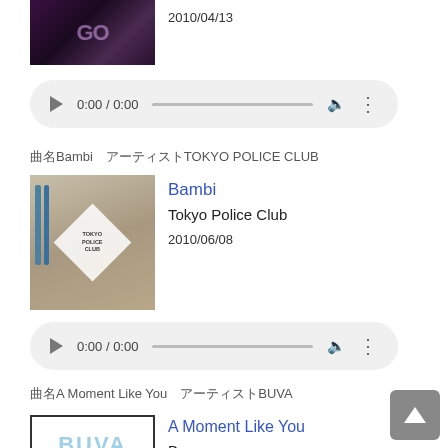[Figure (photo): Partial album artwork top left, dark purple concert-style image with text 'GO']
2010/04/13
[Figure (other): Audio player controls showing 0:00 / 0:00 with play button, progress bar, volume and menu icons]
曲名Bambi　アーティストTOKYO POLICE CLUB
[Figure (photo): Bambi album cover by Tokyo Police Club showing cluttered room with white diamond label]
Bambi
Tokyo Police Club
2010/06/08
[Figure (other): Audio player controls showing 0:00 / 0:00]
曲名A Moment Like You　アーティストBUVA
[Figure (photo): BUVA album cover with light blue BUVA text on white background with black border]
A Moment Like You
Buva